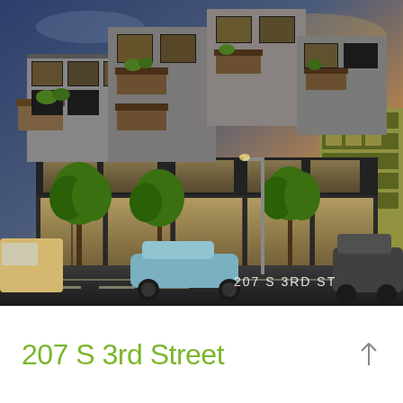[Figure (illustration): Architectural rendering of 207 S 3rd Street, a modern multi-story mixed-use building with stacked cantilevered volumes, large glass windows, balconies with greenery, street-level retail, and pedestrians on the sidewalk. Cars visible in foreground on the street.]
207 S 3rd Street